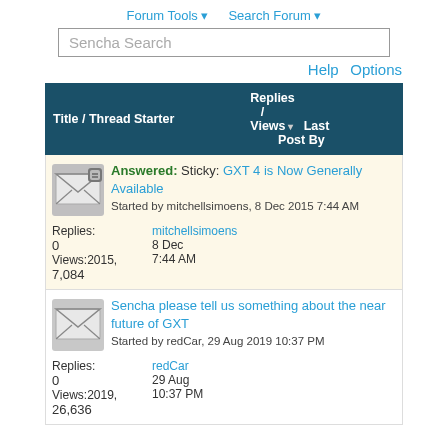Forum Tools   Search Forum
Sencha Search
Help  Options
| Title / Thread Starter | Replies / Views | Last Post By |
| --- | --- | --- |
| Answered: Sticky: GXT 4 is Now Generally Available
Started by mitchellsimoens, 8 Dec 2015 7:44 AM | 0
7,084 | mitchellsimoens
8 Dec
2015,
7:44 AM |
| Sencha please tell us something about the near future of GXT
Started by redCar, 29 Aug 2019 10:37 PM | 0
26,636 | redCar
29 Aug
2019,
10:37 PM |